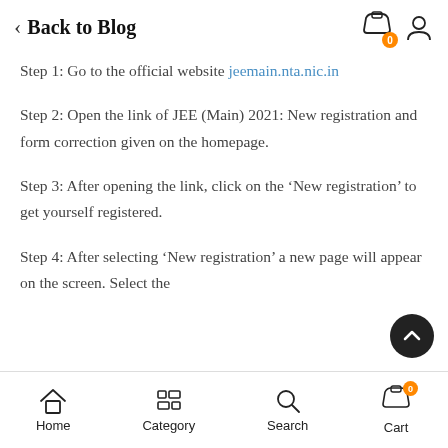Back to Blog
Step 1: Go to the official website jeemain.nta.nic.in
Step 2: Open the link of JEE (Main) 2021: New registration and form correction given on the homepage.
Step 3: After opening the link, click on the ‘New registration’ to get yourself registered.
Step 4: After selecting ‘New registration’ a new page will appear on the screen. Select the
Home  Category  Search  Cart